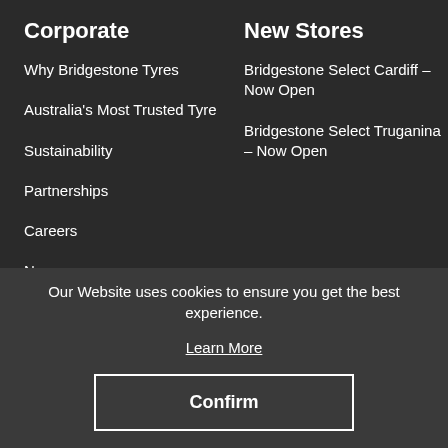Corporate
Why Bridgestone Tyres
Australia's Most Trusted Tyre
Sustainability
Partnerships
Careers
Newsroom
New Stores
Bridgestone Select Cardiff – Now Open
Bridgestone Select Truganina – Now Open
Our Website uses cookies to ensure you get the best experience.
Learn More
Confirm